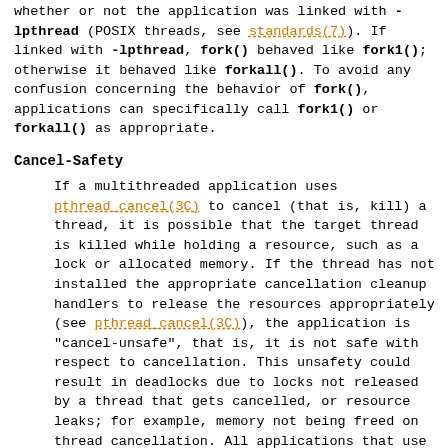whether or not the application was linked with -lpthread (POSIX threads, see standards(7)). If linked with -lpthread, fork() behaved like fork1(); otherwise it behaved like forkall(). To avoid any confusion concerning the behavior of fork(), applications can specifically call fork1() or forkall() as appropriate.
Cancel-Safety
If a multithreaded application uses pthread_cancel(3C) to cancel (that is, kill) a thread, it is possible that the target thread is killed while holding a resource, such as a lock or allocated memory. If the thread has not installed the appropriate cancellation cleanup handlers to release the resources appropriately (see pthread_cancel(3C)), the application is "cancel-unsafe", that is, it is not safe with respect to cancellation. This unsafety could result in deadlocks due to locks not released by a thread that gets cancelled, or resource leaks; for example, memory not being freed on thread cancellation. All applications that use pthread_cancel(3C) should ensure that they operate in a